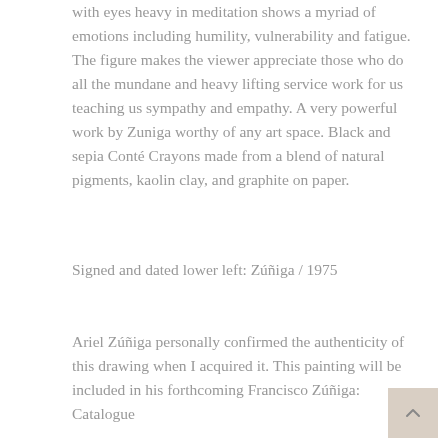with eyes heavy in meditation shows a myriad of emotions including humility, vulnerability and fatigue. The figure makes the viewer appreciate those who do all the mundane and heavy lifting service work for us teaching us sympathy and empathy. A very powerful work by Zuniga worthy of any art space. Black and sepia Conté Crayons made from a blend of natural pigments, kaolin clay, and graphite on paper.
Signed and dated lower left: Zúñiga / 1975
Ariel Zúñiga personally confirmed the authenticity of this drawing when I acquired it. This painting will be included in his forthcoming Francisco Zúñiga: Catalogue